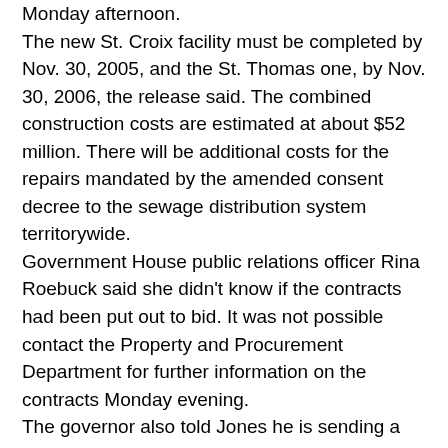Monday afternoon.
The new St. Croix facility must be completed by Nov. 30, 2005, and the St. Thomas one, by Nov. 30, 2006, the release said. The combined construction costs are estimated at about $52 million. There will be additional costs for the repairs mandated by the amended consent decree to the sewage distribution system territorywide.
Government House public relations officer Rina Roebuck said she didn't know if the contracts had been put out to bid. It was not possible contact the Property and Procurement Department for further information on the contracts Monday evening.
The governor also told Jones he is sending a bill to amend provisions of the Waste Management Authority act. He said when he signed the measure into law last month that he would be submitting changes..
The governor also said he is requesting authorization for bonds to finance the demolition of the existing facilities at